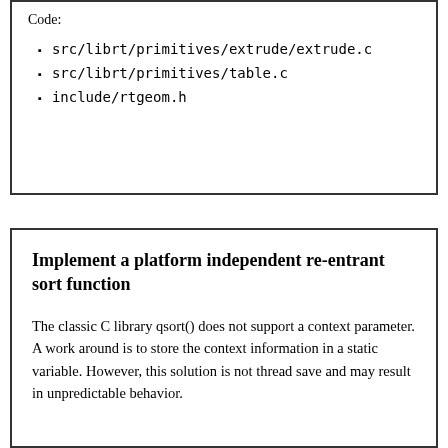Code:
src/librt/primitives/extrude/extrude.c
src/librt/primitives/table.c
include/rtgeom.h
Implement a platform independent re-entrant sort function
The classic C library qsort() does not support a context parameter. A work around is to store the context information in a static variable. However, this solution is not thread save and may result in unpredictable behavior.